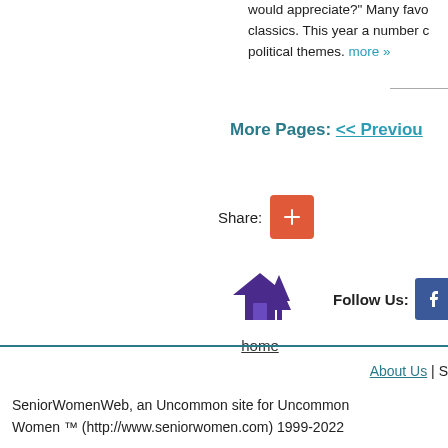would appreciate?" Many favo classics. This year a number of political themes. more »
More Pages: << Previou
[Figure (other): Share button: red/orange square with white plus sign]
[Figure (other): Home icon: purple house and tree silhouette, with 'home' link below]
[Figure (other): Follow Us: Facebook blue square icon and Twitter blue square icon]
About Us | S
SeniorWomenWeb, an Uncommon site for Uncommon Women ™ (http://www.seniorwomen.com) 1999-2022